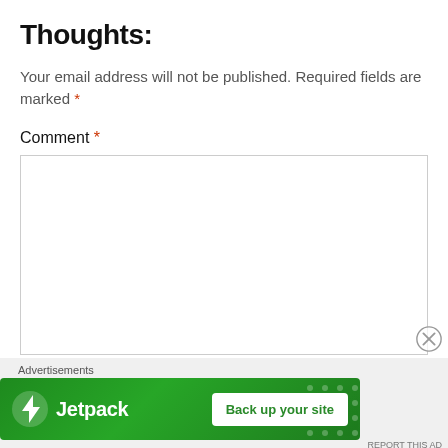Thoughts:
Your email address will not be published. Required fields are marked *
Comment *
[Figure (screenshot): Empty comment text area input box with a light gray border]
Advertisements
[Figure (infographic): Jetpack advertisement banner in green with logo and 'Back up your site' button]